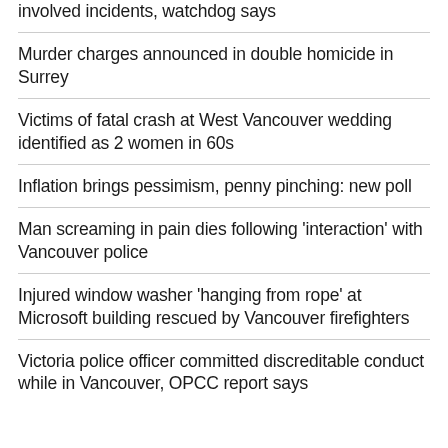involved incidents, watchdog says
Murder charges announced in double homicide in Surrey
Victims of fatal crash at West Vancouver wedding identified as 2 women in 60s
Inflation brings pessimism, penny pinching: new poll
Man screaming in pain dies following 'interaction' with Vancouver police
Injured window washer 'hanging from rope' at Microsoft building rescued by Vancouver firefighters
Victoria police officer committed discreditable conduct while in Vancouver, OPCC report says